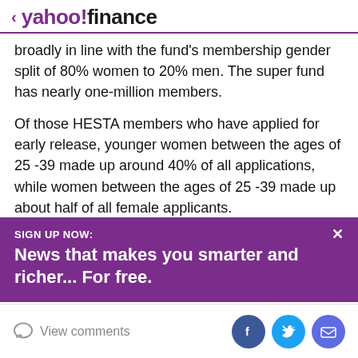< yahoo!finance
broadly in line with the fund's membership gender split of 80% women to 20% men. The super fund has nearly one-million members.
Of those HESTA members who have applied for early release, younger women between the ages of 25 -39 made up around 40% of all applications, while women between the ages of 25 -39 made up about half of all female applicants.
“The strength of our super system has meant that we’ve
SIGN UP NOW:
News that makes you smarter and richer... For free.
View comments